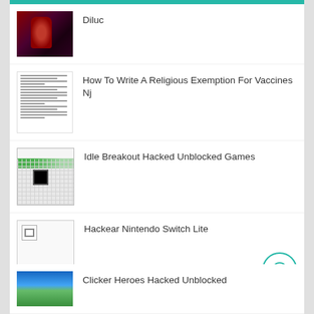[Figure (screenshot): Website listing page with teal top bar]
Diluc
How To Write A Religious Exemption For Vaccines Nj
Idle Breakout Hacked Unblocked Games
Hackear Nintendo Switch Lite
Clicker Heroes Hacked Unblocked